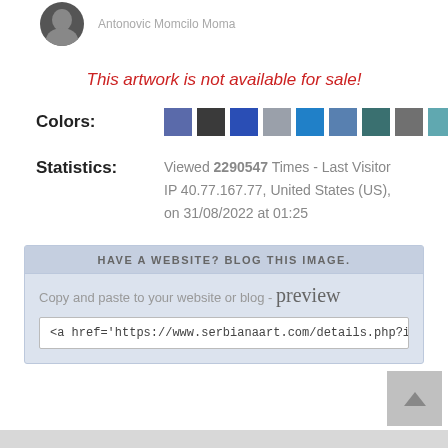[Figure (photo): Circular avatar photo of artist, partially visible at top left]
Antonovic Momcilo Moma
This artwork is not available for sale!
Colors:
[Figure (infographic): Row of 10 color swatches: slate blue, dark gray, royal blue, silver/gray, bright blue, steel blue, teal, medium gray, light teal, pale blue]
Statistics:
Viewed 2290547 Times - Last Visitor IP 40.77.167.77, United States (US), on 31/08/2022 at 01:25
HAVE A WEBSITE? BLOG THIS IMAGE.
Copy and paste to your website or blog - preview
<a href='https://www.serbianaart.com/details.php?id=.